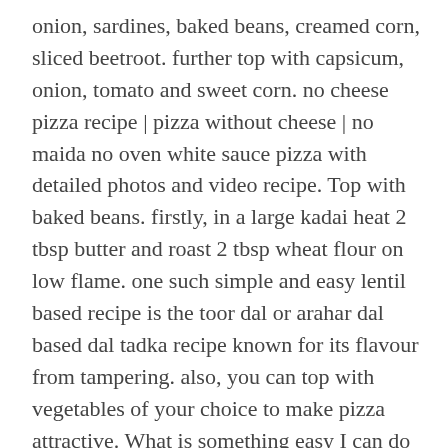onion, sardines, baked beans, creamed corn, sliced beetroot. further top with capsicum, onion, tomato and sweet corn. no cheese pizza recipe | pizza without cheese | no maida no oven white sauce pizza with detailed photos and video recipe. Top with baked beans. firstly, in a large kadai heat 2 tbsp butter and roast 2 tbsp wheat flour on low flame. one such simple and easy lentil based recipe is the toor dal or arahar dal based dal tadka recipe known for its flavour from tampering. also, you can top with vegetables of your choice to make pizza attractive. What is something easy I can do with a whole chicken that's better than just roasting in the oven? Thanks to almond butter, whole grain bread, and chia … firstly, in a large bowl take 2 cup wheat flour, ½ tsp baking soda, 1½ tsp baking powder, 2 tsp sugar, 2 tbsp butter and 1 tsp salt. now add ¾ cup buttermilk and mix well. Why do "health experts" suggest thawing a turkey in the refrigerator? firstly, make sure to stir continuously to prevent any lumps formation in the sauce. It covers an overall healthy but great f